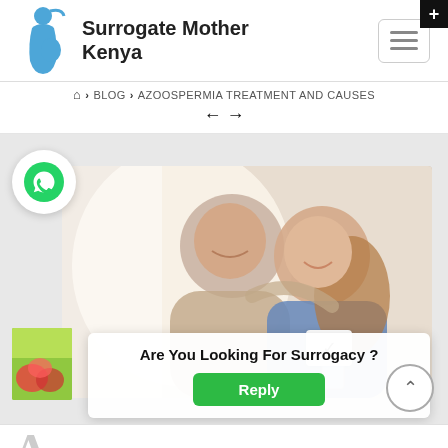[Figure (logo): Blue silhouette of a pregnant woman]
Surrogate Mother Kenya
[Figure (other): Hamburger menu icon button]
🏠 › BLOG › AZOOSPERMIA TREATMENT AND CAUSES
[Figure (photo): A smiling couple sitting together, woman leaning on man's shoulder]
[Figure (other): WhatsApp icon button]
Are You Looking For Surrogacy ?
Reply
A